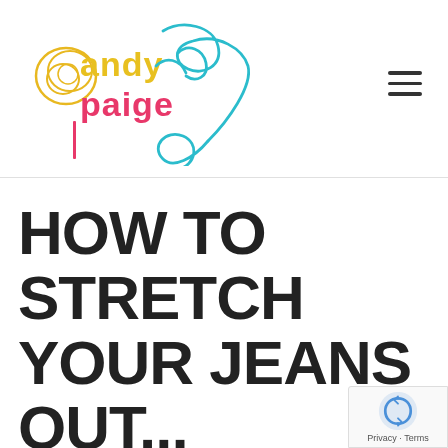[Figure (logo): Sandy Paige Style logo — colorful text 'andy paige' in yellow/orange and pink with a teal cursive script overlay signature]
HOW TO STRETCH YOUR JEANS OUT... ALLOWING ROOM FOR A LITTLE EXTRA